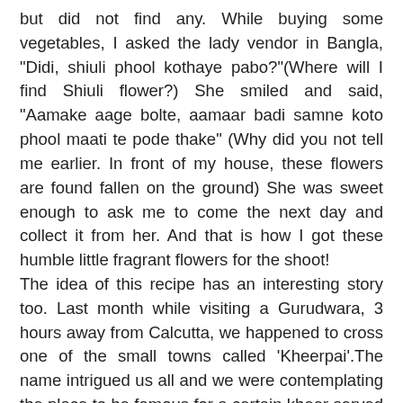but did not find any. While buying some vegetables, I asked the lady vendor in Bangla, "Didi, shiuli phool kothaye pabo?"(Where will I find Shiuli flower?) She smiled and said, "Aamake aage bolte, aamaar badi samne koto phool maati te pode thake" (Why did you not tell me earlier. In front of my house, these flowers are found fallen on the ground) She was sweet enough to ask me to come the next day and collect it from her. And that is how I got these humble little fragrant flowers for the shoot! The idea of this recipe has an interesting story too. Last month while visiting a Gurudwara, 3 hours away from Calcutta, we happened to cross one of the small towns called 'Kheerpai'.The name intrigued us all and we were contemplating the place to be famous for a certain kheer served in a pie form. Since I wanted the dessert to be bite sized, I experimented with these Kheer tarts. I was fortunate to find some nolen gur from last year in my fridge. You can try the same with